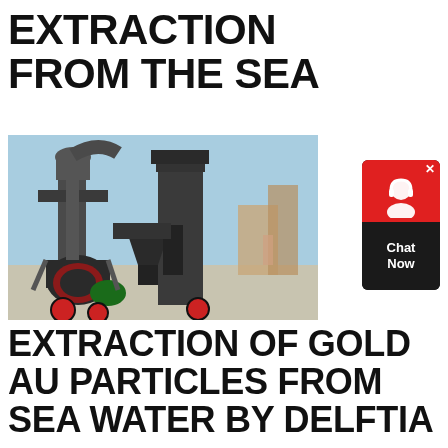EXTRACTION FROM THE SEA
[Figure (photo): Industrial machinery — large dark metal processing equipment with tall vertical columns and pipes against a blue sky, appears to be mineral or gold extraction equipment at an outdoor industrial site.]
EXTRACTION OF GOLD AU PARTICLES FROM SEA WATER BY DELFTIA